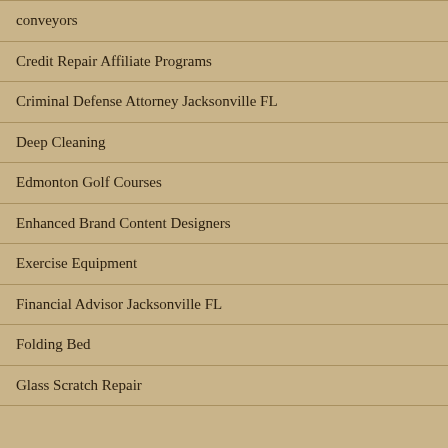conveyors
Credit Repair Affiliate Programs
Criminal Defense Attorney Jacksonville FL
Deep Cleaning
Edmonton Golf Courses
Enhanced Brand Content Designers
Exercise Equipment
Financial Advisor Jacksonville FL
Folding Bed
Glass Scratch Repair